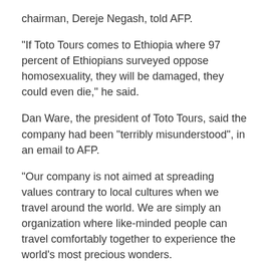chairman, Dereje Negash, told AFP.
“If Toto Tours comes to Ethiopia where 97 percent of Ethiopians surveyed oppose homosexuality, they will be damaged, they could even die,” he said.
Dan Ware, the president of Toto Tours, said the company had been “terribly misunderstood”, in an email to AFP.
“Our company is not aimed at spreading values contrary to local cultures when we travel around the world. We are simply an organization where like-minded people can travel comfortably together to experience the world’s most precious wonders.
“We come with only the greatest respect and humility.”
He said the tour had been advertised on the company’s social media pages and spotted within Ethiopia, leading to